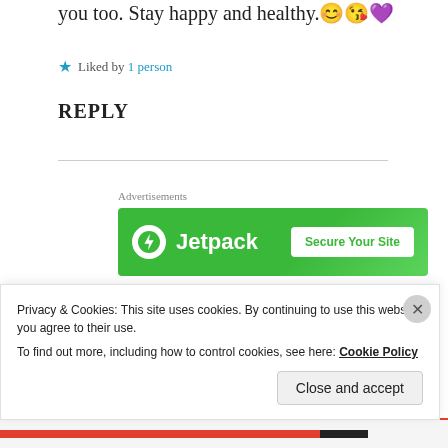you too. Stay happy and healthy. 😊😘💜
★ Liked by 1 person
REPLY
Advertisements
[Figure (screenshot): Jetpack advertisement banner with green background, Jetpack logo and lightning bolt icon on the left, and a 'Secure Your Site' button on the right]
□□□□ □□□□
18 Apr 2019 at 2:36 pm
Privacy & Cookies: This site uses cookies. By continuing to use this website, you agree to their use.
To find out more, including how to control cookies, see here: Cookie Policy
Close and accept